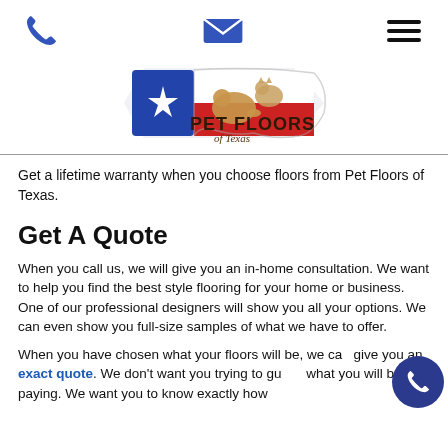[Figure (logo): Pet Floors of Texas logo with Texas flag and animal silhouettes]
Get a lifetime warranty when you choose floors from Pet Floors of Texas.
Get A Quote
When you call us, we will give you an in-home consultation. We want to help you find the best style flooring for your home or business. One of our professional designers will show you all your options. We can even show you full-size samples of what we have to offer.
When you have chosen what your floors will be, we can give you an exact quote. We don't want you trying to guess what you will be paying. We want you to know exactly how